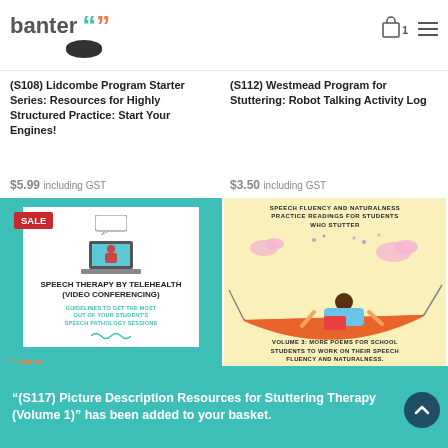banter [logo]
(S108) Lidcombe Program Starter Series: Resources for Highly Structured Practice: Start Your Engines!
$5.99 including GST
(S112) Westmead Program for Stuttering: Robot Talking Activity Log
$3.50 including GST
[Figure (illustration): Speech Therapy by Telehealth (Video Conferencing) book cover with teal background, white box, laptop illustration, SALE badge]
[Figure (illustration): Speech Fluency and Naturalness Practice Readings for Students Who Stutter - Volume 3 poems book cover with yellow background and child in hammock illustration]
"(S117) Picture Description Resources for Stuttering Therapy (Volume 1)" has been added to your basket.